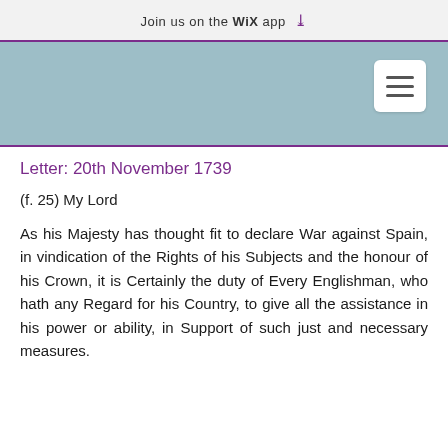Join us on the WiX app ↓
[Figure (screenshot): Light blue navigation banner with white hamburger menu button in the top-right corner]
Letter: 20th November 1739
(f. 25) My Lord
As his Majesty has thought fit to declare War against Spain, in vindication of the Rights of his Subjects and the honour of his Crown, it is Certainly the duty of Every Englishman, who hath any Regard for his Country, to give all the assistance in his power or ability, in Support of such just and necessary measures.